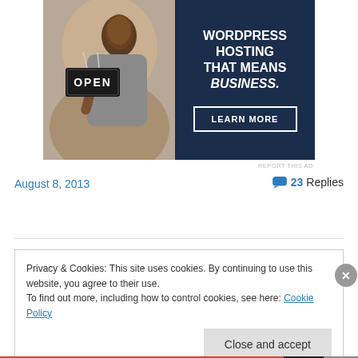[Figure (illustration): Advertisement banner for WordPress hosting showing a woman holding an OPEN sign on left (photo), and dark navy panel on right with text: WORDPRESS HOSTING THAT MEANS BUSINESS. with a LEARN MORE button]
REPORT THIS AD
August 8, 2013
23 Replies
Privacy & Cookies: This site uses cookies. By continuing to use this website, you agree to their use.
To find out more, including how to control cookies, see here: Cookie Policy
Close and accept